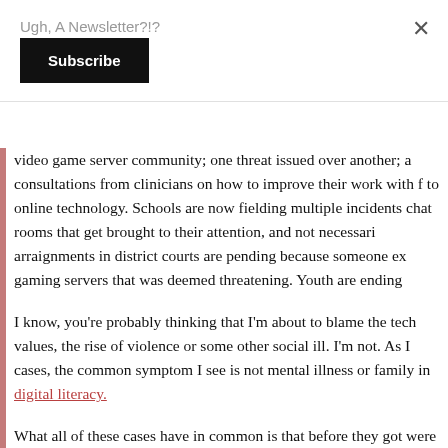Ugh, A Newsletter?!?
Subscribe
video game server community; one threat issued over another; a consultations from clinicians on how to improve their work with f to online technology. Schools are now fielding multiple incidents chat rooms that get brought to their attention, and not necessari arraignments in district courts are pending because someone ex gaming servers that was deemed threatening. Youth are ending
I know, you're probably thinking that I'm about to blame the tech values, the rise of violence or some other social ill. I'm not. As I cases, the common symptom I see is not mental illness or family in digital literacy.
What all of these cases have in common is that before they got were several opportunities for kids to solve their own problems; parents to engage or for therapists to help; if they'd seen the op